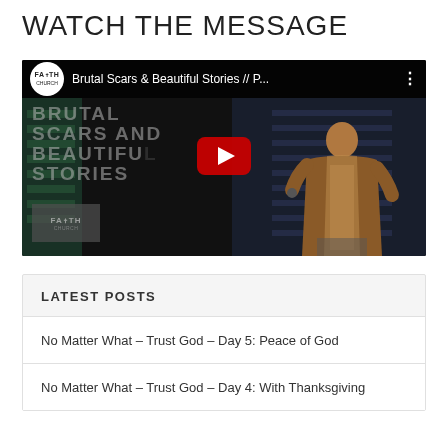WATCH THE MESSAGE
[Figure (screenshot): YouTube video thumbnail showing a speaker on stage with text 'BRUTAL SCARS AND BEAUTIFUL STORIES' and a YouTube play button. Video title: 'Brutal Scars & Beautiful Stories // P...' with Faith Church logo.]
LATEST POSTS
No Matter What – Trust God – Day 5: Peace of God
No Matter What – Trust God – Day 4: With Thanksgiving